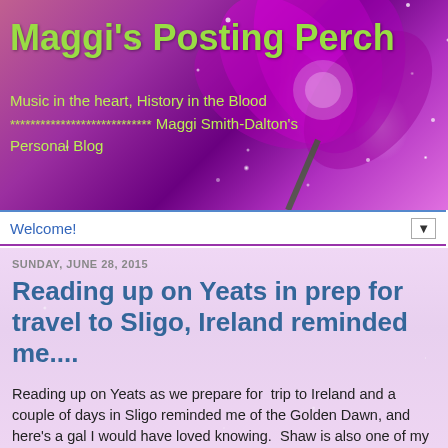[Figure (photo): Purple and magenta flower with sparkle/bokeh effects on a blurred background, used as blog header banner image]
Maggi's Posting Perch
Music in the heart, History in the Blood
**************************** Maggi Smith-Dalton's Personal Blog
Welcome!
SUNDAY, JUNE 28, 2015
Reading up on Yeats in prep for travel to Sligo, Ireland reminded me....
Reading up on Yeats as we prepare for  trip to Ireland and a couple of days in Sligo reminded me of the Golden Dawn, and here's a gal I would have loved knowing.  Shaw is also one of my faves, although he didn't particularly cotton to her "magical" interests.